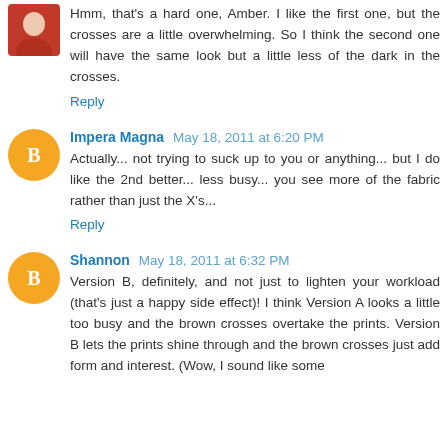Hmm, that's a hard one, Amber. I like the first one, but the crosses are a little overwhelming. So I think the second one will have the same look but a little less of the dark in the crosses.
Reply
Impera Magna May 18, 2011 at 6:20 PM
Actually... not trying to suck up to you or anything... but I do like the 2nd better... less busy... you see more of the fabric rather than just the X's...
Reply
Shannon May 18, 2011 at 6:32 PM
Version B, definitely, and not just to lighten your workload (that's just a happy side effect)! I think Version A looks a little too busy and the brown crosses overtake the prints. Version B lets the prints shine through and the brown crosses just add form and interest. (Wow, I sound like some